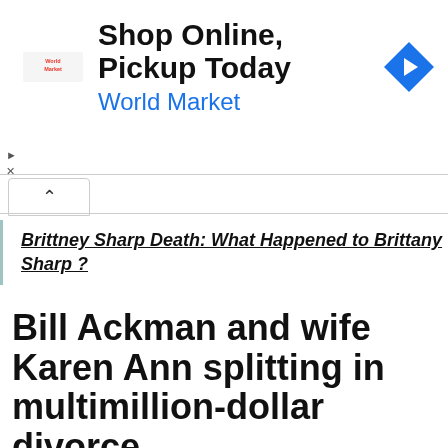[Figure (other): Advertisement banner for World Market: 'Shop Online, Pickup Today' with World Market logo and navigation arrow icon]
Brittney Sharp Death: What Happened to Brittany Sharp ?
Bill Ackman and wife Karen Ann splitting in multimillion-dollar divorce
Bill Ackman and wife Karen Ann divorce settlement
Hedge fund boss Bill Ackman and his wife